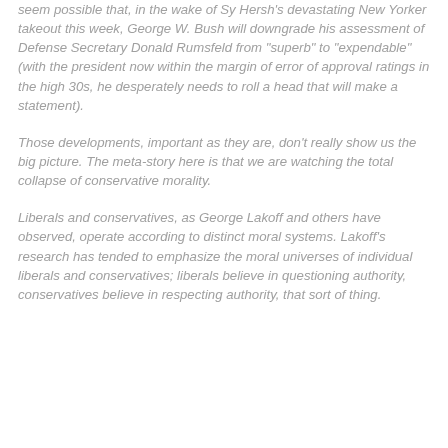seem possible that, in the wake of Sy Hersh's devastating New Yorker takeout this week, George W. Bush will downgrade his assessment of Defense Secretary Donald Rumsfeld from "superb" to "expendable" (with the president now within the margin of error of approval ratings in the high 30s, he desperately needs to roll a head that will make a statement).
Those developments, important as they are, don't really show us the big picture. The meta-story here is that we are watching the total collapse of conservative morality.
Liberals and conservatives, as George Lakoff and others have observed, operate according to distinct moral systems. Lakoff's research has tended to emphasize the moral universes of individual liberals and conservatives; liberals believe in questioning authority, conservatives believe in respecting authority, that sort of thing.